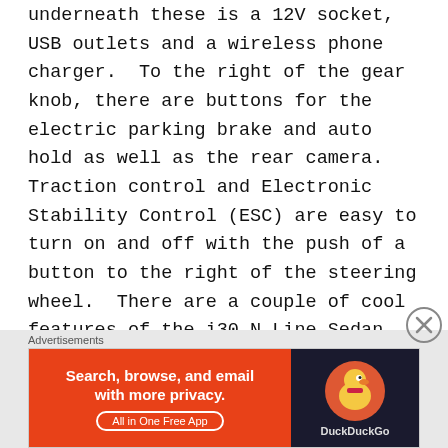underneath these is a 12V socket, USB outlets and a wireless phone charger.  To the right of the gear knob, there are buttons for the electric parking brake and auto hold as well as the rear camera.  Traction control and Electronic Stability Control (ESC) are easy to turn on and off with the push of a button to the right of the steering wheel.  There are a couple of cool features of the i30 N Line Sedan that need to be mentioned.  When driving at night, there is a small horizontal strip of light underneath the vents that changes colour depending on the drive mode selected.  The driver can also change between four different layouts for the instrument dials on the 10.25-inch digital driver's cluster, depending on
Advertisements
[Figure (other): DuckDuckGo advertisement banner: orange left side with text 'Search, browse, and email with more privacy. All in One Free App', dark right side with DuckDuckGo logo duck icon.]